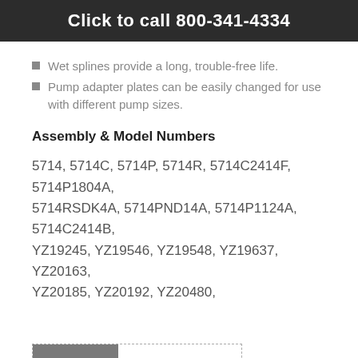Click to call 800-341-4334
Wet splines provide a long, trouble-free life.
Pump adapter plates can be easily changed for use with different pump sizes.
Assembly & Model Numbers
5714, 5714C, 5714P, 5714R, 5714C2414F, 5714P1804A, 5714RSDK4A, 5714PND14A, 5714P1124A, 5714C2414B, YZ19245, YZ19546, YZ19548, YZ19637, YZ20163, YZ20185, YZ20192, YZ20480,
NOTES   DOWNLOADS
Type Four